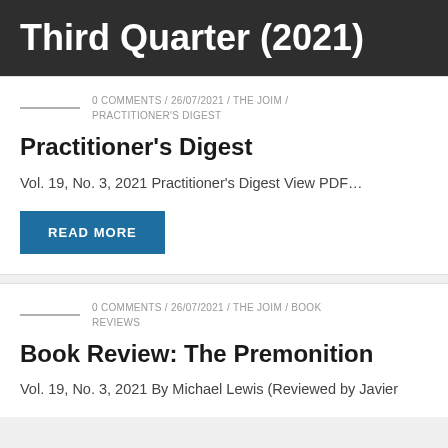Third Quarter (2021)
0 COMMENTS / 26/07/2021 / THE JOIM / PRACTITIONER'S DIGEST
Practitioner's Digest
Vol. 19, No. 3, 2021 Practitioner's Digest View PDF…
READ MORE
0 COMMENTS / 26/07/2021 / THE JOIM / BOOK REVIEWS
Book Review: The Premonition
Vol. 19, No. 3, 2021 By Michael Lewis (Reviewed by Javier